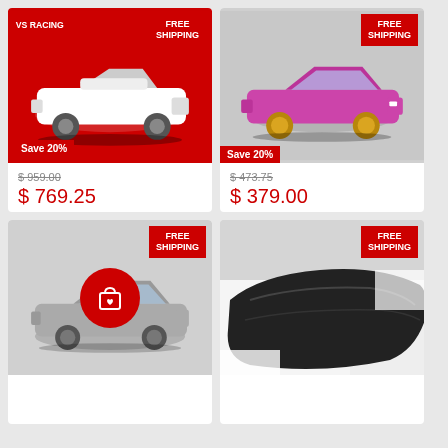[Figure (photo): White Nissan 370Z with VIS Racing body kit on red background, FREE SHIPPING badge top right, Save 20% badge bottom left]
$ 959.00 (strikethrough)
$ 769.25
VIS Racing AMS Front Bumper (Fiberglass) - Nissan 370Z
VIS Racing
[Figure (photo): Pink/magenta Infiniti G35 Coupe with VIS Racing body kit on gray background, FREE SHIPPING badge top right, Save 20% badge bottom left]
$ 473.75 (strikethrough)
$ 379.00
VIS Racing Terminator / TS-Style Front Bumper (Fiberglass) - Infiniti G35 Coupe
VIS Racing
[Figure (photo): Silver Infiniti G35 Coupe on gray background with red shopping bag/cart circle icon overlay and FREE SHIPPING badge]
[Figure (photo): Black car bumper/body part on white background, FREE SHIPPING badge top right]